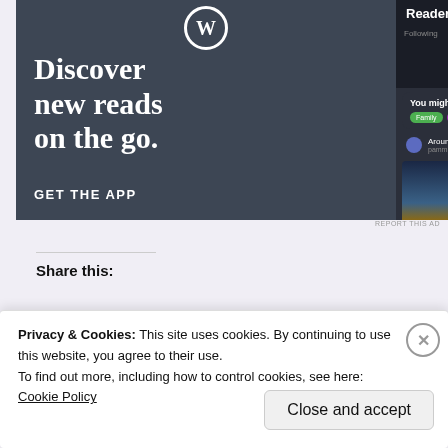[Figure (screenshot): WordPress app advertisement showing 'Discover new reads on the go.' with a phone mockup showing the Reader interface, with 'GET THE APP' call to action.]
REPORT THIS AD
Share this:
Privacy & Cookies: This site uses cookies. By continuing to use this website, you agree to their use.
To find out more, including how to control cookies, see here:
Cookie Policy
Close and accept